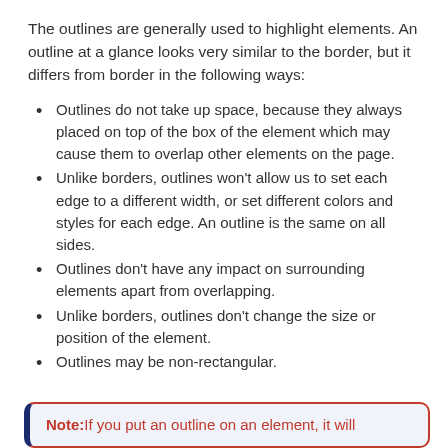The outlines are generally used to highlight elements. An outline at a glance looks very similar to the border, but it differs from border in the following ways:
Outlines do not take up space, because they always placed on top of the box of the element which may cause them to overlap other elements on the page.
Unlike borders, outlines won’t allow us to set each edge to a different width, or set different colors and styles for each edge. An outline is the same on all sides.
Outlines don’t have any impact on surrounding elements apart from overlapping.
Unlike borders, outlines don’t change the size or position of the element.
Outlines may be non-rectangular.
Note:If you put an outline on an element, it will